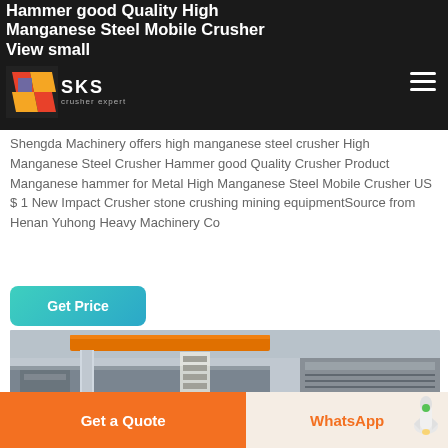SKS crusher expert
Hammer good Quality High Manganese Steel Mobile Crusher View small
Shengda Machinery offers high manganese steel crusher High Manganese Steel Crusher Hammer good Quality Crusher Product Manganese hammer for Metal High Manganese Steel Mobile Crusher US $ 1 New Impact Crusher stone crushing mining equipmentSource from Henan Yuhong Heavy Machinery Co
[Figure (screenshot): Get Price button with teal gradient background]
[Figure (photo): Industrial crusher equipment in a factory setting with orange overhead beam and metal machinery components]
Get a Quote | WhatsApp